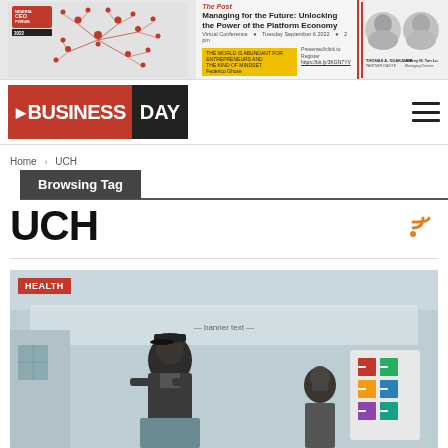[Figure (illustration): CEO Forum 2022 banner advertisement with network diagram of connected people nodes on left, event details in center, and two speaker headshots on right]
[Figure (logo): Business Day newspaper logo — BUSINESS in red box, DAY in black box]
Home > UCH
Browsing Tag
UCH
[Figure (photo): Photo of a person speaking at a HEALTH event, with a banner in background and informational display boards visible]
HEALTH